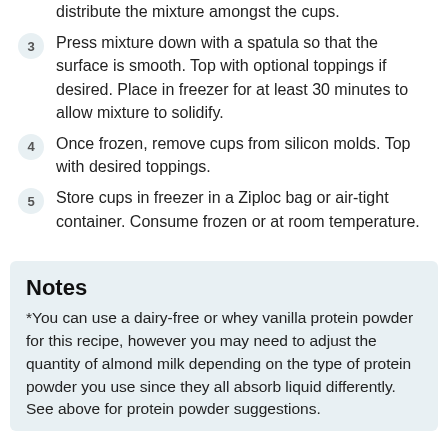distribute the mixture amongst the cups.
3  Press mixture down with a spatula so that the surface is smooth. Top with optional toppings if desired. Place in freezer for at least 30 minutes to allow mixture to solidify.
4  Once frozen, remove cups from silicon molds. Top with desired toppings.
5  Store cups in freezer in a Ziploc bag or air-tight container. Consume frozen or at room temperature.
Notes
*You can use a dairy-free or whey vanilla protein powder for this recipe, however you may need to adjust the quantity of almond milk depending on the type of protein powder you use since they all absorb liquid differently. See above for protein powder suggestions.